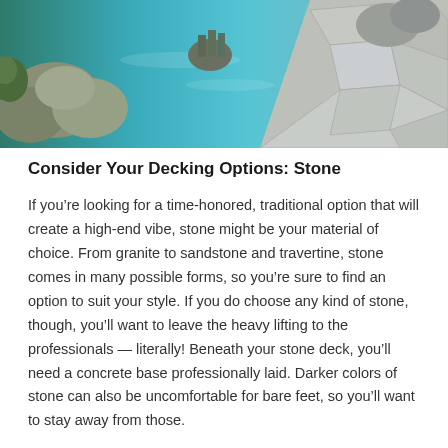[Figure (photo): Aerial/overhead view of a backyard swimming pool with natural stone decking, large boulders, and blue water]
Consider Your Decking Options: Stone
If you’re looking for a time-honored, traditional option that will create a high-end vibe, stone might be your material of choice. From granite to sandstone and travertine, stone comes in many possible forms, so you’re sure to find an option to suit your style. If you do choose any kind of stone, though, you’ll want to leave the heavy lifting to the professionals — literally! Beneath your stone deck, you’ll need a concrete base professionally laid. Darker colors of stone can also be uncomfortable for bare feet, so you’ll want to stay away from those.